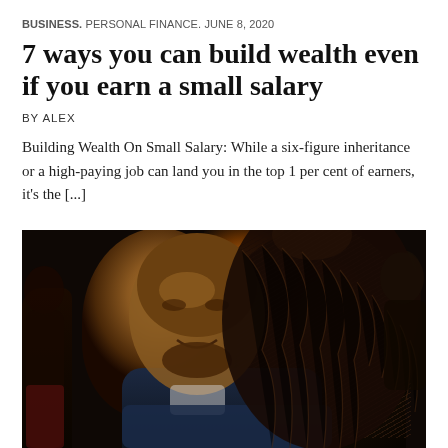BUSINESS. PERSONAL FINANCE. JUNE 8, 2020
7 ways you can build wealth even if you earn a small salary
BY ALEX
Building Wealth On Small Salary: While a six-figure inheritance or a high-paying job can land you in the top 1 per cent of earners, it's the [...]
[Figure (photo): Two people in a social setting, the main subject is a smiling man in the foreground with a woman with braided hair beside him, dark background with warm lighting]